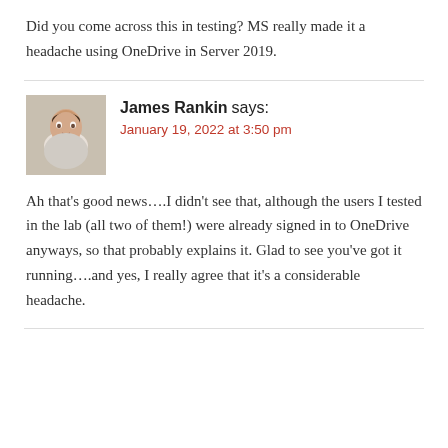Did you come across this in testing? MS really made it a headache using OneDrive in Server 2019.
James Rankin says:
January 19, 2022 at 3:50 pm
[Figure (photo): Profile photo of James Rankin, a man with short dark hair wearing a light-colored shirt]
Ah that’s good news….I didn’t see that, although the users I tested in the lab (all two of them!) were already signed in to OneDrive anyways, so that probably explains it. Glad to see you’ve got it running….and yes, I really agree that it’s a considerable headache.